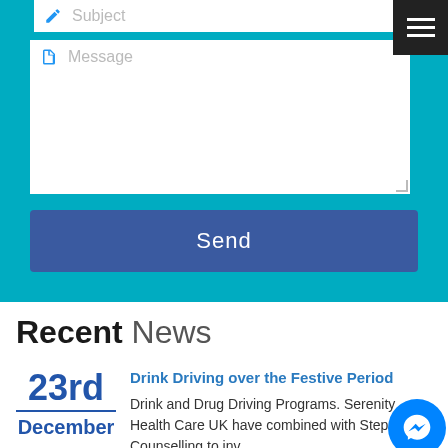[Figure (screenshot): Teal contact form section with Subject field, Message textarea, and Send button, plus hamburger menu icon in top-right corner]
Recent News
23rd
December
Drink Driving over the Festive Period
Drink and Drug Driving Programs. Serenity Health Care UK have combined with Steps Counselling to inv.